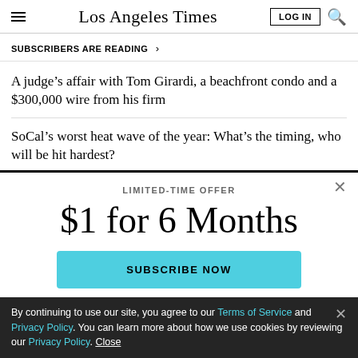Los Angeles Times
SUBSCRIBERS ARE READING
A judge’s affair with Tom Girardi, a beachfront condo and a $300,000 wire from his firm
SoCal’s worst heat wave of the year: What’s the timing, who will be hit hardest?
LIMITED-TIME OFFER
$1 for 6 Months
SUBSCRIBE NOW
By continuing to use our site, you agree to our Terms of Service and Privacy Policy. You can learn more about how we use cookies by reviewing our Privacy Policy. Close